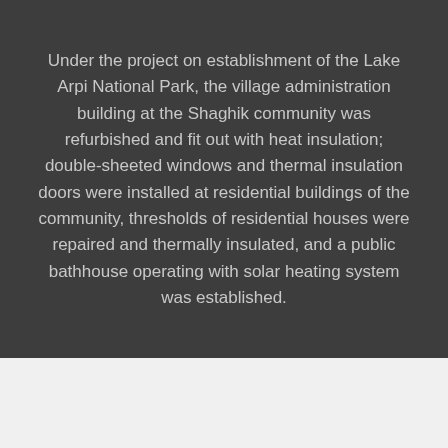Under the project on establishment of the Lake Arpi National Park, the village administration building at the Shaghik community was refurbished and fit out with heat insulation; double-sheeted windows and thermal insulation doors were installed at residential buildings of the community, thresholds of residential houses were repaired and thermally insulated, and a public bathhouse operating with solar heating system was established.